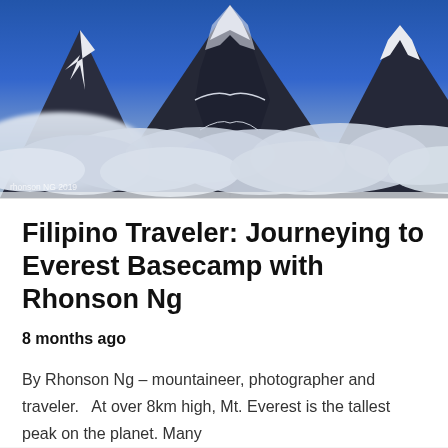[Figure (photo): High-altitude mountain peaks with snow and clouds, dramatic blue sky — photograph of Mt. Everest area with sepia-blue toning. Photo credit: rhonson NG 2019]
Filipino Traveler: Journeying to Everest Basecamp with Rhonson Ng
8 months ago
By Rhonson Ng – mountaineer, photographer and traveler.   At over 8km high, Mt. Everest is the tallest peak on the planet. Many